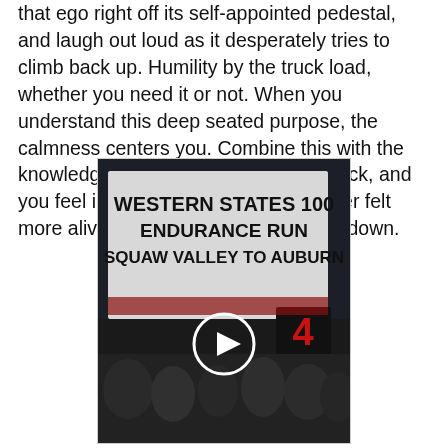that ego right off its self-appointed pedestal, and laugh out loud as it desperately tries to climb back up. Humility by the truck load, whether you need it or not. When you understand this deep seated purpose, the calmness centers you. Combine this with the knowledge that your team has your back, and you feel infinitely powerful. I have never felt more alive than I do as the clock ticks down.
[Figure (photo): Night-time photo showing a large sign reading 'WESTERN STATES 100 ENDURANCE RUN SQUAW VALLEY TO AUBURN' with a red digital countdown display showing '4', and a crowd of people below. A white video play button circle overlays the center of the image.]